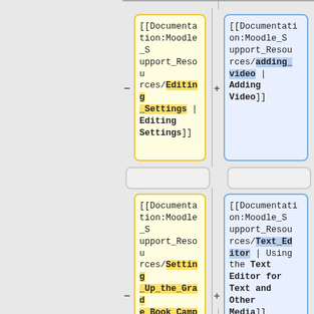[Figure (flowchart): A diff/comparison flowchart showing wiki markup cells in two columns. Top row: left yellow box shows '[[Documentation:Moodle_Support_Resources/Editing_Settings | Editing Settings]]' with a minus operator; right blue box shows '[[Documentation:Moodle_Support_Resources/adding_video | Adding Video]]' with a plus operator. Middle row: two empty gray boxes. Bottom row: left yellow box shows '[[Documentation:Moodle_Support_Resources/Setting_Up_the_Grade_Book_Campus | Setting Up the Grade Book (Campus)]]' with a minus operator; right blue box shows '[[Documentation:Moodle_Support_Resources/Text_Editor | Using the Text Editor for Text and Other Media]]' with a plus operator.]